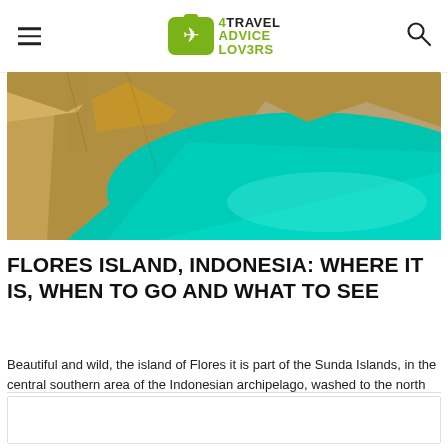4TRAVEL ADVICE LOVERS
[Figure (photo): Aerial or close-up view of a turquoise-green volcanic crater lake with rocky brownish-yellow edges, Flores Island, Indonesia]
FLORES ISLAND, INDONESIA: WHERE IT IS, WHEN TO GO AND WHAT TO SEE
Beautiful and wild, the island of Flores it is part of the Sunda Islands, in the central southern area of the Indonesian archipelago, washed to the north by the waters of the Flores Sea and to the south by those of the Savu Sea. Famous for its lush nature, [...]